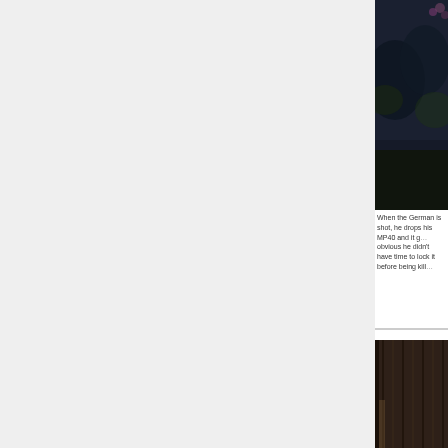[Figure (photo): Dark outdoor scene showing foliage and ground, appears to be a film still]
When the German is shot, he drops his MP40 and it g... obvious he didn't have time to lock it before being killo...
[Figure (photo): Dark interior scene showing wooden wall/door and a person partially visible, appears to be a film still]
[Figure (photo): Seamless food delivery advertisement banner showing pizza slices on left, Seamless red logo in center, and ORDER NOW button on right with X close button]